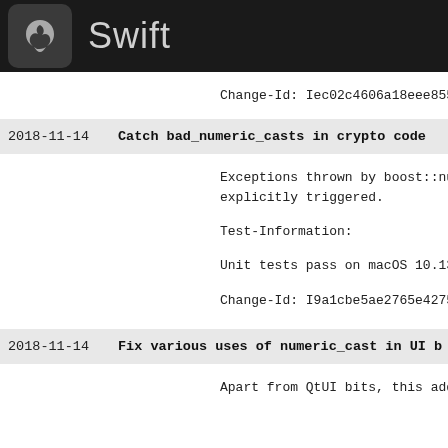Swift
Change-Id: Iec02c4606a18eee855362fd3c3d1
2018-11-14   Catch bad_numeric_casts in crypto code
Exceptions thrown by boost::numeric_cast
explicitly triggered.

Test-Information:

Unit tests pass on macOS 10.13

Change-Id: I9a1cbe5ae2765e4275bf35473a87
2018-11-14   Fix various uses of numeric_cast in UI b
Apart from QtUI bits, this addresses use